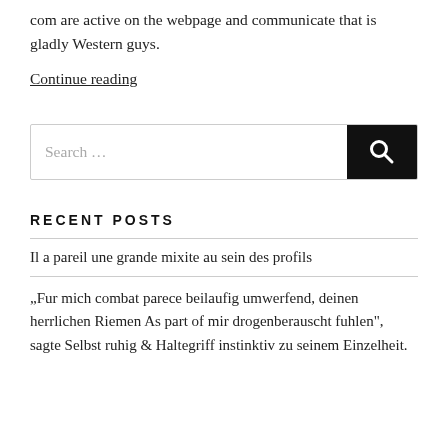com are active on the webpage and communicate that is gladly Western guys.
Continue reading
[Figure (other): Search bar with text 'Search ...' and a black search button with magnifying glass icon]
RECENT POSTS
Il a pareil une grande mixite au sein des profils
„Fur mich combat parece beilaufig umwerfend, deinen herrlichen Riemen As part of mir drogenberauscht fuhlen", sagte Selbst ruhig & Haltegriff instinktiv zu seinem Einzelheit.